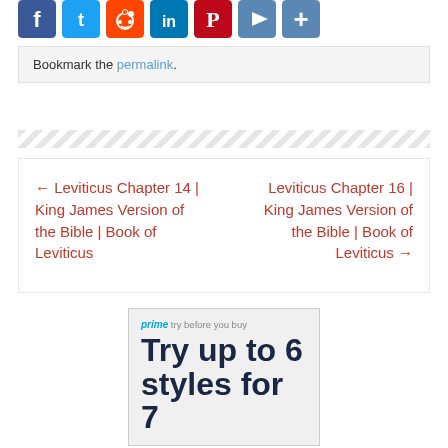[Figure (other): Row of social media sharing icons (Facebook, Twitter, Reddit, LinkedIn, Pinterest, YouTube, and another icon) shown as colored rounded square buttons]
Bookmark the permalink.
[Figure (other): Diagonal stripe pattern divider]
← Leviticus Chapter 14 | King James Version of the Bible | Book of Leviticus
Leviticus Chapter 16 | King James Version of the Bible | Book of Leviticus →
[Figure (infographic): Amazon Prime 'Try before you buy' advertisement with large text reading 'Try up to 6 styles for 7']